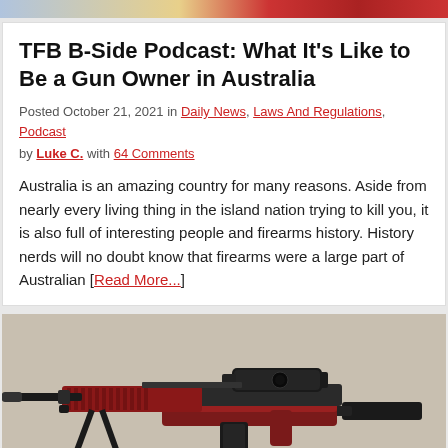[Figure (photo): Colorful top image strip banner]
TFB B-Side Podcast: What It's Like to Be a Gun Owner in Australia
Posted October 21, 2021 in Daily News, Laws And Regulations, Podcast by Luke C. with 64 Comments
Australia is an amazing country for many reasons. Aside from nearly every living thing in the island nation trying to kill you, it is also full of interesting people and firearms history. History nerds will no doubt know that firearms were a large part of Australian [Read More...]
[Figure (photo): Photo of a red and black AR-style rifle on a bipod with a scope, placed on concrete]